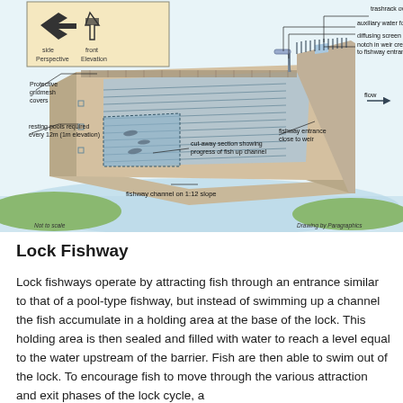[Figure (engineering-diagram): Detailed engineering illustration of a vertical slot fishway (roughened channel/rock ramp fishway). The diagram shows a 3D cutaway view of a concrete fishway channel on a 1:12 slope with labeled components: trashrack over fishway exit, auxiliary water for high tailwater levels, diffusing screen, notch in weir crest to attract fish to fishway entrance, flow direction arrow, fishway entrance close to weir, cut-away section showing progress of fish up channel, fishway channel on 1:12 slope, resting pools required every 12m (1m elevation), Protective gridmesh covers. An inset in the upper left shows side and front elevation/perspective diagrams of a baffle. Notes: Not to scale. Drawing by Paragraphics.]
Lock Fishway
Lock fishways operate by attracting fish through an entrance similar to that of a pool-type fishway, but instead of swimming up a channel the fish accumulate in a holding area at the base of the lock. This holding area is then sealed and filled with water to reach a level equal to the water upstream of the barrier. Fish are then able to swim out of the lock. To encourage fish to move through the various attraction and exit phases of the lock cycle, a